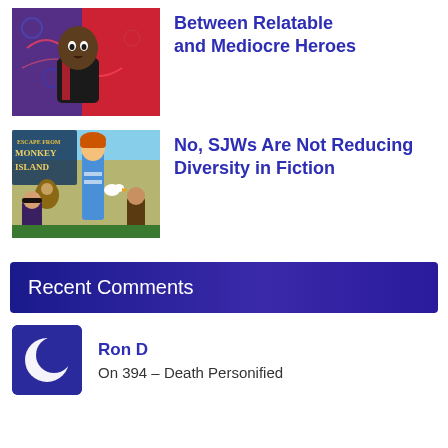[Figure (illustration): Animated character (dark-skinned boy) on red and blue background with swirling patterns]
Between Relatable and Mediocre Heroes
[Figure (illustration): Escape from Monkey Island game art with cartoon characters including a red-haired man and pirates]
No, SJWs Are Not Reducing Diversity in Fiction
Recent Comments
[Figure (illustration): User avatar showing a crescent moon / circle icon on dark blue background]
Ron D
On 394 – Death Personified